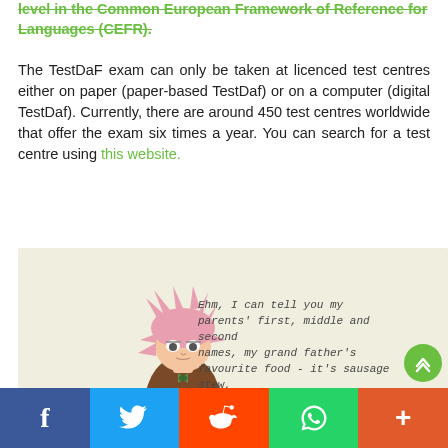level in the Common European Framework of Reference for Languages (CEFR).
The TestDaF exam can only be taken at licenced test centres either on paper (paper-based TestDaf) or on a computer (digital TestDaf). Currently, there are around 450 test centres worldwide that offer the exam six times a year. You can search for a test centre using this website.
[Figure (illustration): Cartoon illustration of a pink-haired anime-style character in a brown outfit with handwritten text beside them reading: Ehm, I can tell you my parents' first, middle and second names, my grand father's favourite food - it's sausage stew, my grades from middle school, the color of my second cat's eyes and the name of the first person I ever kissed. I can also tell you EXACTLY where I left my passport - it's right on the kitchen table next to my coffee mug.]
f  Twitter  Reddit  WhatsApp  +